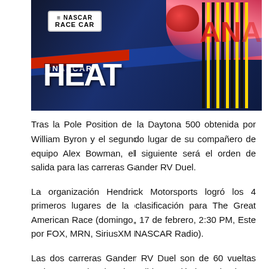[Figure (photo): Close-up photo of a NASCAR race car with dark blue body, showing NASCAR Heat branding, NASCAR Race Car badge at top, yellow and black stripes on the right side, and red/blue helmet visible in the background.]
Tras la Pole Position de la Daytona 500 obtenida por William Byron y el segundo lugar de su compañero de equipo Alex Bowman, el siguiente será el orden de salida para las carreras Gander RV Duel.
La organización Hendrick Motorsports logró los 4 primeros lugares de la clasificación para The Great American Race (domingo, 17 de febrero, 2:30 PM, Este por FOX, MRN, SiriusXM NASCAR Radio).
Las dos carreras Gander RV Duel son de 60 vueltas cada una y el orden de salida quedó determinado en base a los resultados de las sesiones clasificatorias del domingo.